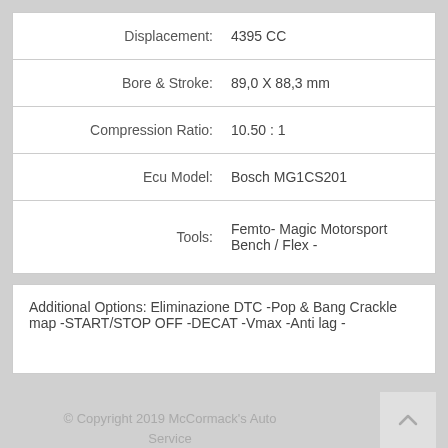| Label | Value |
| --- | --- |
| Displacement: | 4395 CC |
| Bore & Stroke: | 89,0 X 88,3 mm |
| Compression Ratio: | 10.50 : 1 |
| Ecu Model: | Bosch MG1CS201 |
| Tools: | Femto- Magic Motorsport Bench / Flex - |
Additional Options: Eliminazione DTC -Pop & Bang Crackle map -START/STOP OFF -DECAT -Vmax -Anti lag -
© Copyright 2019 McCormack's Auto Service